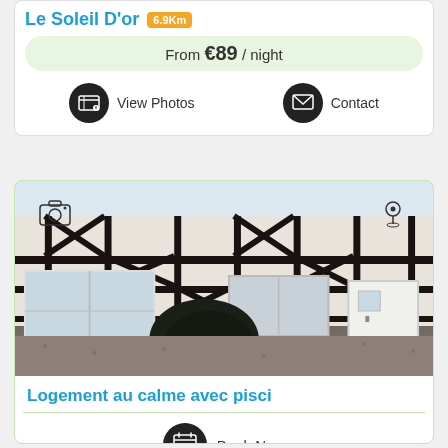Le Soleil D'or 6.9Km
From €89 / night
View Photos
Contact
[Figure (photo): Photo of a Norman half-timbered building with black timber framing on white facade, sliding glass door on left, white door on right, dark shrub in center, gravel driveway in foreground. Camera and map-pin icons overlaid at top.]
Logement au calme avec pisci
Book Now